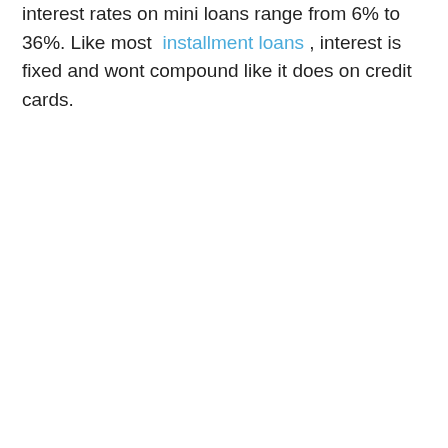interest rates on mini loans range from 6% to 36%. Like most installment loans , interest is fixed and wont compound like it does on credit cards.